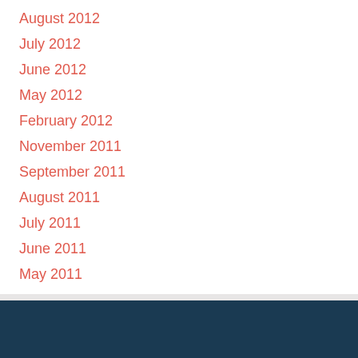August 2012
July 2012
June 2012
May 2012
February 2012
November 2011
September 2011
August 2011
July 2011
June 2011
May 2011